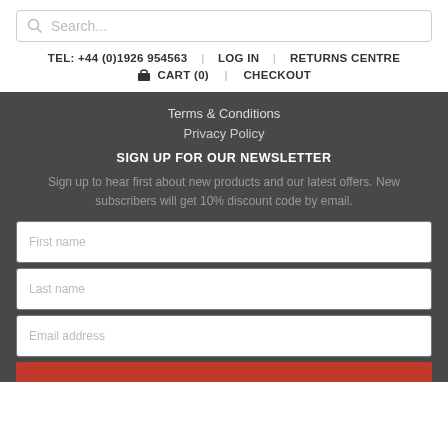[Figure (other): Search bar with magnifying glass icon and placeholder text 'Search...']
TEL: +44 (0)1926 954563   LOG IN   RETURNS CENTRE
CART (0)   CHECKOUT
Terms & Conditions
Privacy Policy
SIGN UP FOR OUR NEWSLETTER
Sign up to hear first about new products and our latest offers. New subscribers will get 10% discount code by email.
First name
Last name
Email address